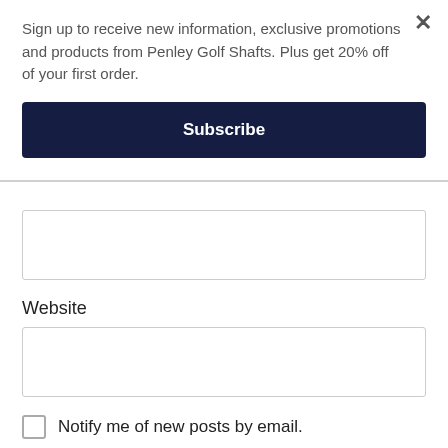Sign up to receive new information, exclusive promotions and products from Penley Golf Shafts. Plus get 20% off of your first order.
Subscribe
Website
Notify me of new posts by email.
POST COMMENT